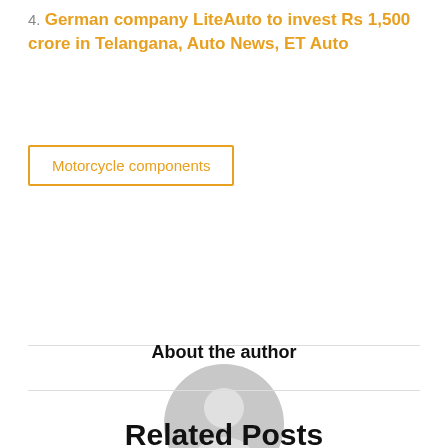4. German company LiteAuto to invest Rs 1,500 crore in Telangana, Auto News, ET Auto
Motorcycle components
[Figure (illustration): Generic grey user/author avatar placeholder image showing a silhouette of a person inside a circle]
About the author
Related Posts